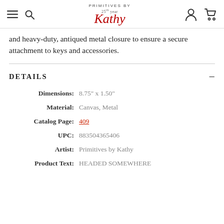Primitives by Kathy — navigation bar with hamburger menu, search, logo, account, and cart icons
and heavy-duty, antiqued metal closure to ensure a secure attachment to keys and accessories.
DETAILS
| Field | Value |
| --- | --- |
| Dimensions: | 8.75" x 1.50" |
| Material: | Canvas, Metal |
| Catalog Page: | 409 |
| UPC: | 883504365406 |
| Artist: | Primitives by Kathy |
| Product Text: | HEADED SOMEWHERE |